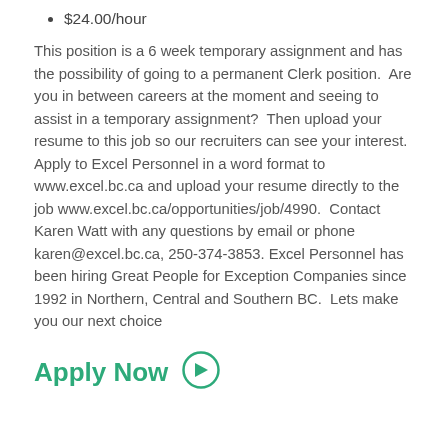$24.00/hour
This position is a 6 week temporary assignment and has the possibility of going to a permanent Clerk position. Are you in between careers at the moment and seeing to assist in a temporary assignment? Then upload your resume to this job so our recruiters can see your interest. Apply to Excel Personnel in a word format to www.excel.bc.ca and upload your resume directly to the job www.excel.bc.ca/opportunities/job/4990. Contact Karen Watt with any questions by email or phone karen@excel.bc.ca, 250-374-3853. Excel Personnel has been hiring Great People for Exception Companies since 1992 in Northern, Central and Southern BC. Lets make you our next choice
Apply Now